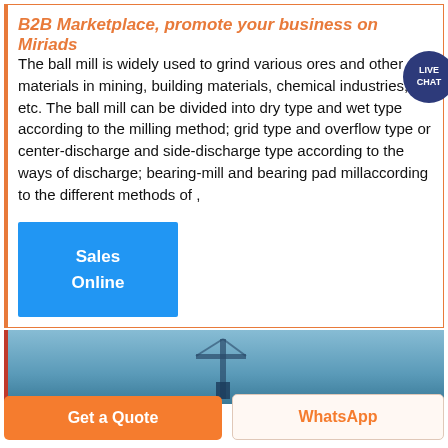B2B Marketplace, promote your business on Miriads
The ball mill is widely used to grind various ores and other materials in mining, building materials, chemical industries, etc. The ball mill can be divided into dry type and wet type according to the milling method; grid type and overflow type or center-discharge and side-discharge type according to the ways of discharge; bearing-mill and bearing pad millaccording to the different methods of ,
[Figure (infographic): Blue 'LIVE CHAT' speech bubble badge overlay in top right of card]
[Figure (other): Blue button labeled 'Sales Online']
[Figure (photo): Partial photo of industrial equipment/tower against blue sky]
Get a Quote
WhatsApp